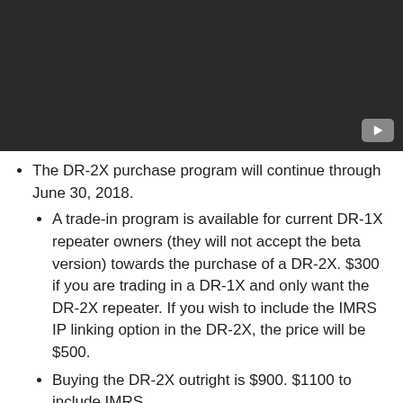[Figure (screenshot): Dark/black video thumbnail with a YouTube-style play button in the bottom-right corner]
The DR-2X purchase program will continue through June 30, 2018.
A trade-in program is available for current DR-1X repeater owners (they will not accept the beta version) towards the purchase of a DR-2X. $300 if you are trading in a DR-1X and only want the DR-2X repeater. If you wish to include the IMRS IP linking option in the DR-2X, the price will be $500.
Buying the DR-2X outright is $900. $1100 to include IMRS.
New Firmware will be released for DG-ID and DP-ID functionality in the DR-1X repeaters. Much like the Wires-X upgrade, it is very likely the repeater will need to be sent back to Yaesu for this firmware upgrade.